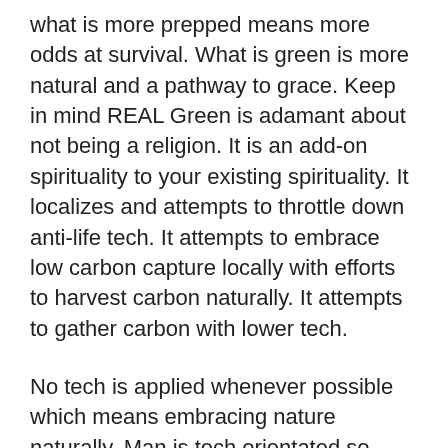what is more prepped means more odds at survival.  What is green is more natural and a pathway to grace.  Keep in mind REAL Green is adamant about not being a religion.  It is an add-on spirituality to your existing spirituality.  It localizes and attempts to throttle down anti-life tech.  It attempts to embrace low carbon capture locally with efforts to harvest carbon naturally.  It attempts to gather carbon with lower tech.
No tech is applied whenever possible which means embracing nature naturally.  Man is tech orientated so REAL Green does not attempt to dispense with tech.  Instead, what